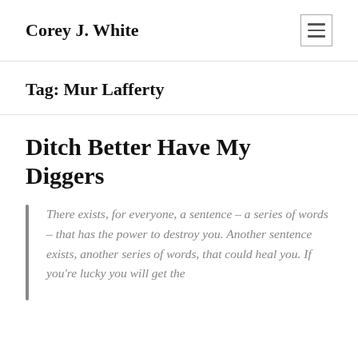Corey J. White
Tag: Mur Lafferty
Ditch Better Have My Diggers
There exists, for everyone, a sentence – a series of words – that has the power to destroy you. Another sentence exists, another series of words, that could heal you. If you're lucky you will get the